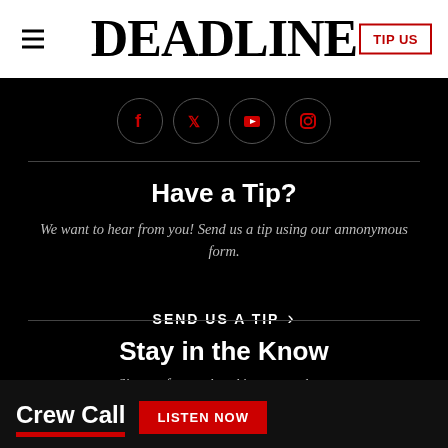DEADLINE
[Figure (illustration): Social media icons row: Facebook, Twitter/X, YouTube, Instagram — circular icons with dark background]
Have a Tip?
We want to hear from you! Send us a tip using our annonymous form.
SEND US A TIP ›
Stay in the Know
Sign up for our breaking news alerts
[Figure (screenshot): Ad banner: Crew Call — LISTEN NOW button in red]